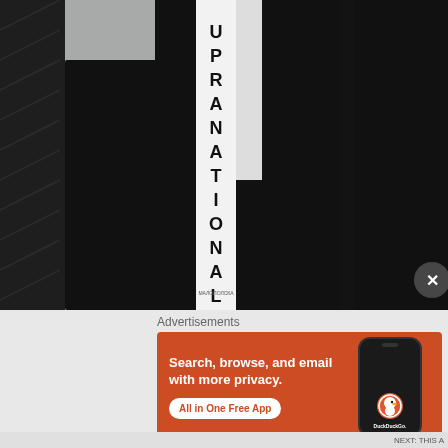[Figure (photo): Person wearing a black tuxedo suit with a white pageant sash reading 'SUPRANATIONAL' diagonally across the chest, with a logo at the bottom of the sash. The background is gray. Only the torso and arms are visible.]
Advertisements
[Figure (screenshot): DuckDuckGo advertisement banner with orange background. Left side reads 'Search, browse, and email with more privacy.' with a white button 'All in One Free App'. Right side shows a phone mockup with the DuckDuckGo duck logo and text 'DuckDuckGo.']